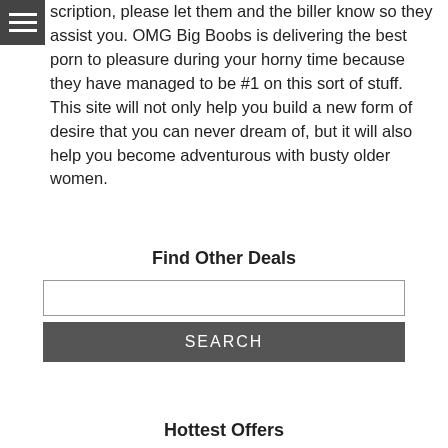scription, please let them and the biller know so they assist you. OMG Big Boobs is delivering the best porn to pleasure during your horny time because they have managed to be #1 on this sort of stuff. This site will not only help you build a new form of desire that you can never dream of, but it will also help you become adventurous with busty older women.
Find Other Deals
Hottest Offers